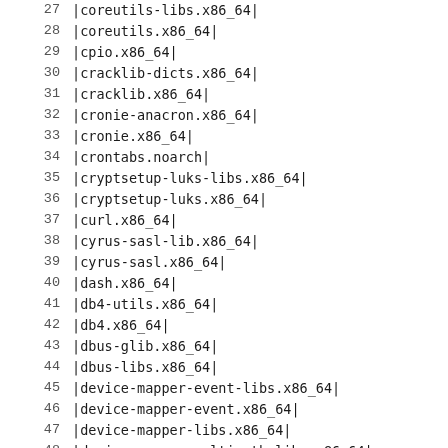| # | package |
| --- | --- |
| 27 | |coreutils-libs.x86_64| |
| 28 | |coreutils.x86_64| |
| 29 | |cpio.x86_64| |
| 30 | |cracklib-dicts.x86_64| |
| 31 | |cracklib.x86_64| |
| 32 | |cronie-anacron.x86_64| |
| 33 | |cronie.x86_64| |
| 34 | |crontabs.noarch| |
| 35 | |cryptsetup-luks-libs.x86_64| |
| 36 | |cryptsetup-luks.x86_64| |
| 37 | |curl.x86_64| |
| 38 | |cyrus-sasl-lib.x86_64| |
| 39 | |cyrus-sasl.x86_64| |
| 40 | |dash.x86_64| |
| 41 | |db4-utils.x86_64| |
| 42 | |db4.x86_64| |
| 43 | |dbus-glib.x86_64| |
| 44 | |dbus-libs.x86_64| |
| 45 | |device-mapper-event-libs.x86_64| |
| 46 | |device-mapper-event.x86_64| |
| 47 | |device-mapper-libs.x86_64| |
| 48 | |device-mapper-multipath-libs.x86_64| |
| 49 | |device-mapper-multipath.x86_64| |
| 50 | |device-mapper-persistent-data.x86_64| |